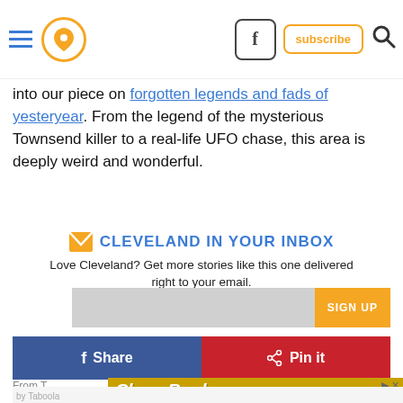Navigation header with hamburger menu, location pin icon, Facebook button, subscribe button, and search icon
into our piece on forgotten legends and fads of yesteryear. From the legend of the mysterious Townsend killer to a real-life UFO chase, this area is deeply weird and wonderful.
CLEVELAND IN YOUR INBOX
Love Cleveland? Get more stories like this one delivered right to your email.
[Figure (screenshot): Email signup form with input field and orange SIGN UP button]
[Figure (screenshot): Share on Facebook (blue) and Pin it on Pinterest (red) buttons]
[Figure (screenshot): CheapBooks.com advertisement banner with yellow background]